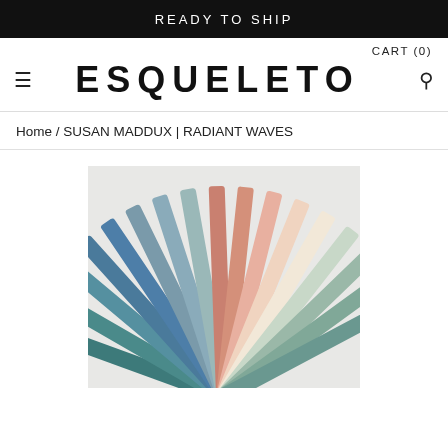READY TO SHIP
CART (0)
ESQUELETO
Home / SUSAN MADDUX | RADIANT WAVES
[Figure (photo): Fan-shaped arrangement of fabric swatches in pastel tones including teal, blue, green, pink, salmon, cream, and grey, photographed from above on a white background.]